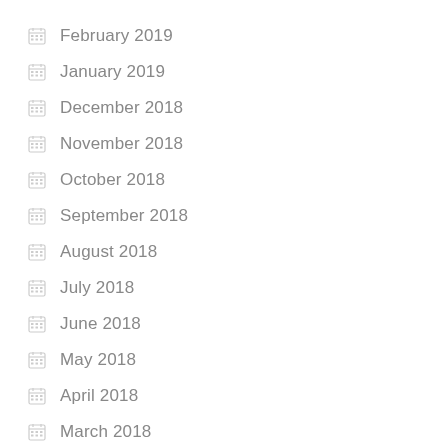February 2019
January 2019
December 2018
November 2018
October 2018
September 2018
August 2018
July 2018
June 2018
May 2018
April 2018
March 2018